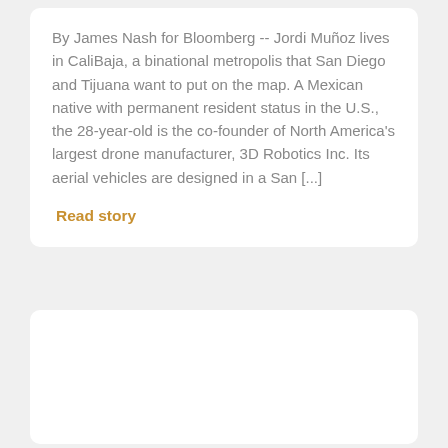By James Nash for Bloomberg -- Jordi Muñoz lives in CaliBaja, a binational metropolis that San Diego and Tijuana want to put on the map. A Mexican native with permanent resident status in the U.S., the 28-year-old is the co-founder of North America's largest drone manufacturer, 3D Robotics Inc. Its aerial vehicles are designed in a San [...]
Read story